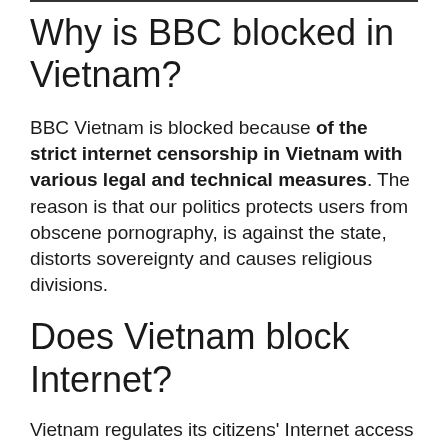Why is BBC blocked in Vietnam?
BBC Vietnam is blocked because of the strict internet censorship in Vietnam with various legal and technical measures. The reason is that our politics protects users from obscene pornography, is against the state, distorts sovereignty and causes religious divisions.
Does Vietnam block Internet?
Vietnam regulates its citizens' Internet access using both legal and technical means. The government's efforts to regulate,